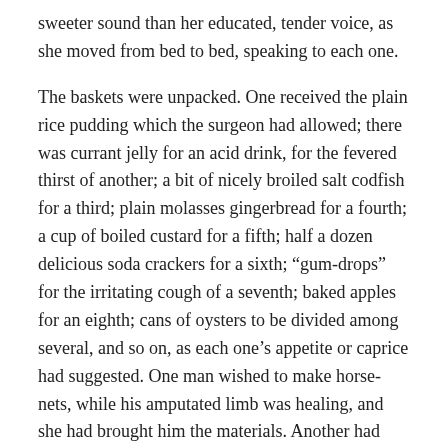sweeter sound than her educated, tender voice, as she moved from bed to bed, speaking to each one.
The baskets were unpacked. One received the plain rice pudding which the surgeon had allowed; there was currant jelly for an acid drink, for the fevered thirst of another; a bit of nicely broiled salt codfish for a third; plain molasses gingerbread for a fourth; a cup of boiled custard for a fifth; half a dozen delicious soda crackers for a sixth; “gum-drops” for the irritating cough of a seventh; baked apples for an eighth; cans of oysters to be divided among several, and so on, as each one’s appetite or caprice had suggested. One man wished to make horse-nets, while his amputated limb was healing, and she had brought him the materials. Another had informed her of his skill in wood-carving, but he had no tools to work with, and she had brought them in the basket.
From the same capacious depths she drew forth paper, envelopes, postage stamps, pencils, ink, Atlantic Monthlies,